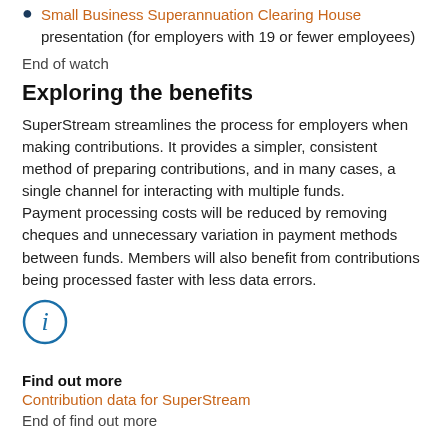Small Business Superannuation Clearing House presentation (for employers with 19 or fewer employees)
End of watch
Exploring the benefits
SuperStream streamlines the process for employers when making contributions. It provides a simpler, consistent method of preparing contributions, and in many cases, a single channel for interacting with multiple funds.
Payment processing costs will be reduced by removing cheques and unnecessary variation in payment methods between funds. Members will also benefit from contributions being processed faster with less data errors.
[Figure (infographic): Blue circle info icon (i)]
Find out more
Contribution data for SuperStream
End of find out more